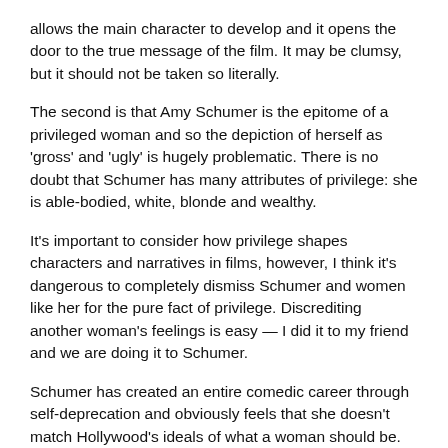allows the main character to develop and it opens the door to the true message of the film. It may be clumsy, but it should not be taken so literally.
The second is that Amy Schumer is the epitome of a privileged woman and so the depiction of herself as 'gross' and 'ugly' is hugely problematic. There is no doubt that Schumer has many attributes of privilege: she is able-bodied, white, blonde and wealthy.
It's important to consider how privilege shapes characters and narratives in films, however, I think it's dangerous to completely dismiss Schumer and women like her for the pure fact of privilege. Discrediting another woman's feelings is easy — I did it to my friend and we are doing it to Schumer.
Schumer has created an entire comedic career through self-deprecation and obviously feels that she doesn't match Hollywood's ideals of what a woman should be. To be fair to Schumer, she doesn't.
She may have markers of privilege but her demeanour and